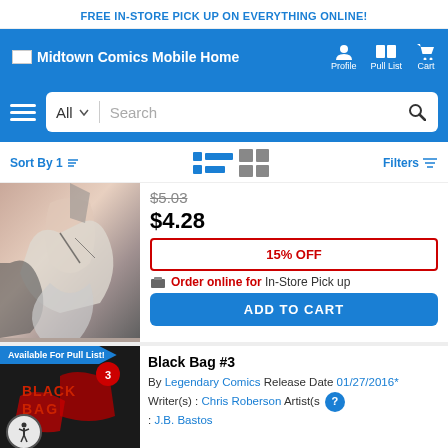FREE IN-STORE PICK UP ON EVERYTHING ONLINE!
[Figure (screenshot): Midtown Comics mobile website navigation bar with logo, Profile, Pull List, and Cart icons]
[Figure (screenshot): Search bar with All dropdown, Search input, and hamburger menu]
Sort By 1  Filters
[Figure (photo): Comic book cover art showing a figure in white clothing on stairs]
$5.03 (strikethrough price)
$4.28
15% OFF
Order online for In-Store Pick up
ADD TO CART
Available For Pull List!
[Figure (photo): Black Bag #3 comic book cover with dark background and red logo]
Black Bag #3
By Legendary Comics Release Date 01/27/2016* Writer(s) : Chris Roberson Artist(s) : J.B. Bastos